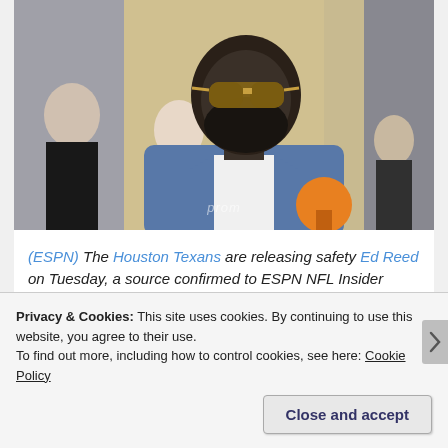[Figure (photo): Photo of a man with a full beard wearing sunglasses and a blue blazer with white dress shirt, speaking into a microphone. Watermark reading 'pro...m' visible at bottom. Other people visible in background.]
(ESPN) The Houston Texans are releasing safety Ed Reed on Tuesday, a source confirmed to ESPN NFL Insider Adam Schefter.
Privacy & Cookies: This site uses cookies. By continuing to use this website, you agree to their use.
To find out more, including how to control cookies, see here: Cookie Policy
Close and accept